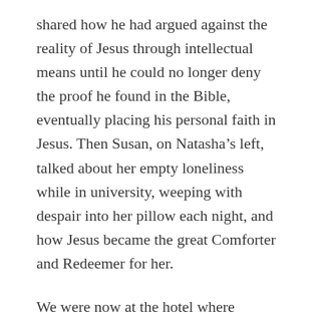shared how he had argued against the reality of Jesus through intellectual means until he could no longer deny the proof he found in the Bible, eventually placing his personal faith in Jesus. Then Susan, on Natasha’s left, talked about her empty loneliness while in university, weeping with despair into her pillow each night, and how Jesus became the great Comforter and Redeemer for her.
We were now at the hotel where Natasha would leave us and Bob, glancing into the rear view mirror, observed that not only was she intently listening, but tears were pooling in her eyes. Although we had no Bible or literature to give her, we did have a few copies of the memorial article we had written only a few months earlier when our 18-year-old son died. In it were a few sentences about his own journey with